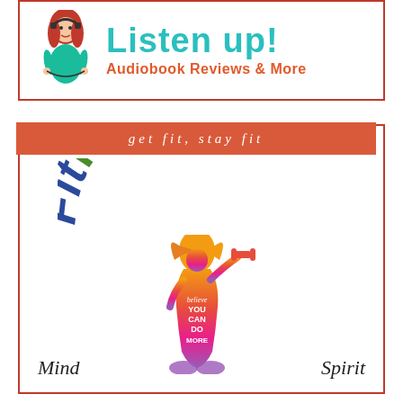[Figure (logo): Listen Up! Audiobook Reviews & More logo with cartoon woman with headphones]
[Figure (logo): FitReaders logo with arched colorful text, female fitness silhouette with dumbbell, words Mind and Spirit, and motivational text 'believe YOU CAN DO MORE']